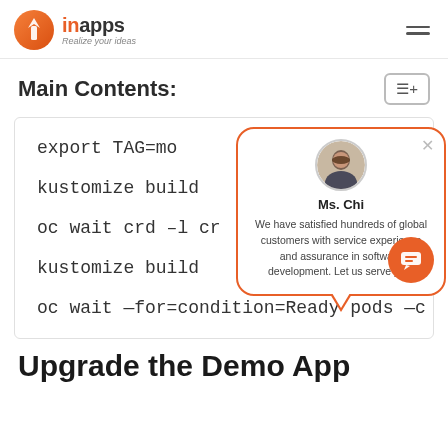[Figure (logo): InApps logo with orange circular icon and text 'inApps - Realize your ideas']
Main Contents:
[Figure (screenshot): Code block showing terminal commands: export TAG=mo..., kustomize build..., oc wait crd -l cr..., kustomize build..., oc wait --for=condition=Ready pods --c]
[Figure (infographic): Chat popup with Ms. Chi avatar. Text: 'Ms. Chi - We have satisfied hundreds of global customers with service experience and assurance in software development. Let us serve you.']
Upgrade the Demo App